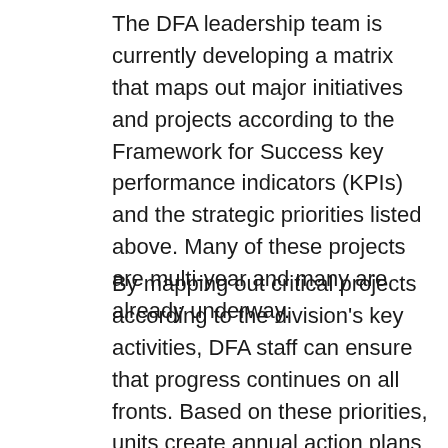The DFA leadership team is currently developing a matrix that maps out major initiatives and projects according to the Framework for Success key performance indicators (KPIs) and the strategic priorities listed above. Many of these projects are multi-year and many are already underway.
By mapping out critical projects according to the division's key activities, DFA staff can ensure that progress continues on all fronts. Based on these priorities, units create annual action plans that identify necessary resources along with performance measures to